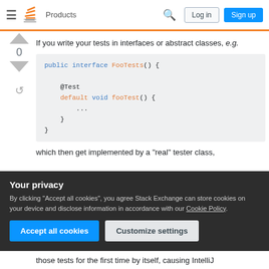≡  [StackOverflow logo]  Products  🔍  Log in  Sign up
If you write your tests in interfaces or abstract classes, e.g.
[Figure (screenshot): Code block showing Java interface with public interface FooTests(), @Test annotation, default void fooTest() method with ... body]
which then get implemented by a "real" tester class,
Your privacy
By clicking "Accept all cookies", you agree Stack Exchange can store cookies on your device and disclose information in accordance with our Cookie Policy.
Accept all cookies   Customize settings
those tests for the first time by itself, causing IntelliJ